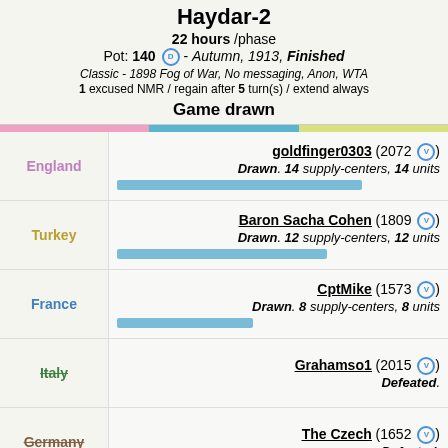Haydar-2
22 hours /phase
Pot: 140 D - Autumn, 1913, Finished
Classic - 1898 Fog of War, No messaging, Anon, WTA
1 excused NMR / regain after 5 turn(s) / extend always
Game drawn
| Country | Player | Status |
| --- | --- | --- |
| England | goldfinger0303 (2072) | Drawn. 14 supply-centers, 14 units |
| Turkey | Baron Sacha Cohen (1809) | Drawn. 12 supply-centers, 12 units |
| France | CptMike (1573) | Drawn. 8 supply-centers, 8 units |
| Italy | Grahamso1 (2015) | Defeated. |
| Germany | The Czech (1652) | Defeated. |
| Austria | Seinwave (1010) | Defeated. |
| Russia | Duke of Wellington (1673) |  |